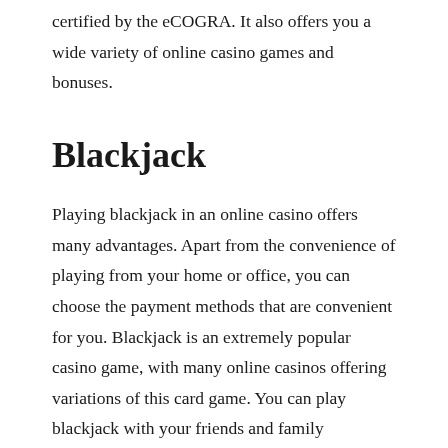certified by the eCOGRA. It also offers you a wide variety of online casino games and bonuses.
Blackjack
Playing blackjack in an online casino offers many advantages. Apart from the convenience of playing from your home or office, you can choose the payment methods that are convenient for you. Blackjack is an extremely popular casino game, with many online casinos offering variations of this card game. You can play blackjack with your friends and family